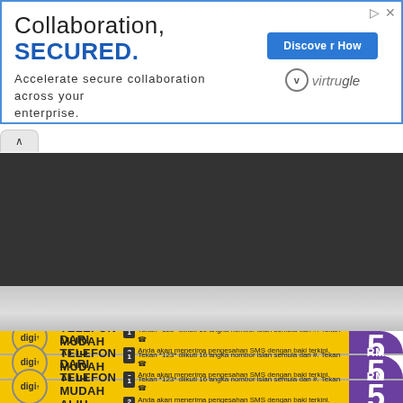[Figure (screenshot): Web advertisement banner for Virtru: 'Collaboration, SECURED. Accelerate secure collaboration across your enterprise.' with a blue 'Discover How' button and Virtru logo. Browser UI elements visible including tab and dark navigation bar.]
[Figure (photo): Three Digi prepaid reload cards on a gray surface. Each card is yellow with Digi logo, text 'DARI TELEFON MUDAH ALIH ANDA!' and instructions in Malay for reloading via *123*. Each card has RM5 value displayed on a purple section.]
Tekan *123* diikuti 16 angka nombor isian semula dan #. Tekan [call button]
Anda akan menerima pengesahan SMS dengan baki terkini.